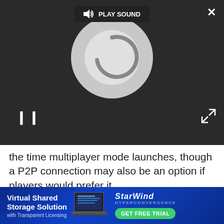[Figure (screenshot): Video player overlay showing a circular loading/logo graphic in dark background with PLAY SOUND button at top, pause button at bottom left, expand arrows at bottom right, and close X at top right]
the time multiplayer mode launches, though a P2P connection may also be an option if players would prefer it.
Whatever happens though, multiplayer is still a way off yet. CDPR already confirmed that it was being treated as a “standalone project” rather than a specific “mode” of the game itself. That suggests there’s a lot of work still to be done, and we might even see CDPR go down the same route as Grand Theft Auto Online by launching Cyperpunk 2077’s
[Figure (screenshot): Advertisement banner for StarWind Hyperconvergence Virtual Shared Storage Solution with Transparent Licensing, featuring a laptop image and GET FREE TRIAL button]